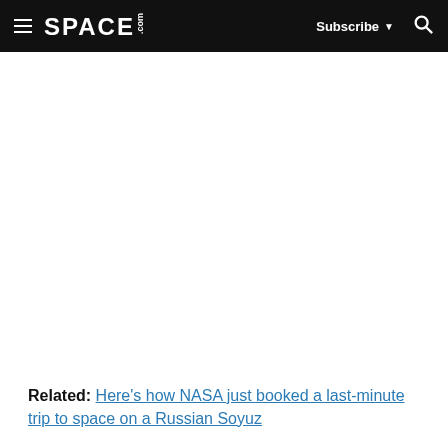SPACE.com — Subscribe
Related: Here's how NASA just booked a last-minute trip to space on a Russian Soyuz